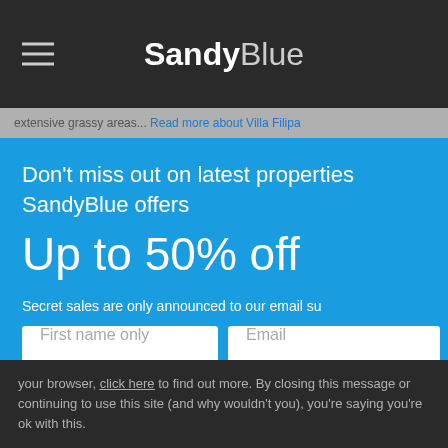SandyBlue
extensive grassy areas... Read more about Villa Filipa
Don't miss out on latest properties SandyBlue offers
Up to 50% off
Secret sales are only announced to our email su
First name only
Email
your browser, click here to find out more. By closing this message or continuing to use this site (and why wouldn't you), you're saying you're ok with this.